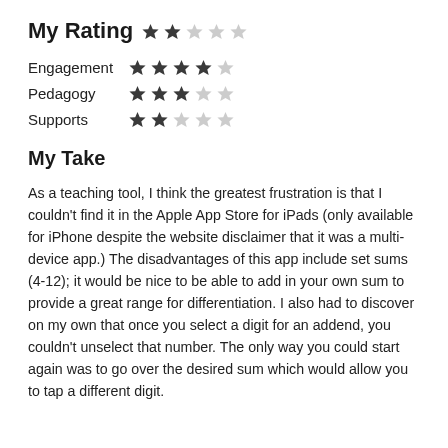My Rating ★★☆☆☆
Engagement ★★★★☆
Pedagogy ★★★☆☆
Supports ★★☆☆☆
My Take
As a teaching tool, I think the greatest frustration is that I couldn't find it in the Apple App Store for iPads (only available for iPhone despite the website disclaimer that it was a multi-device app.) The disadvantages of this app include set sums (4-12); it would be nice to be able to add in your own sum to provide a great range for differentiation. I also had to discover on my own that once you select a digit for an addend, you couldn't unselect that number. The only way you could start again was to go over the desired sum which would allow you to tap a different digit.